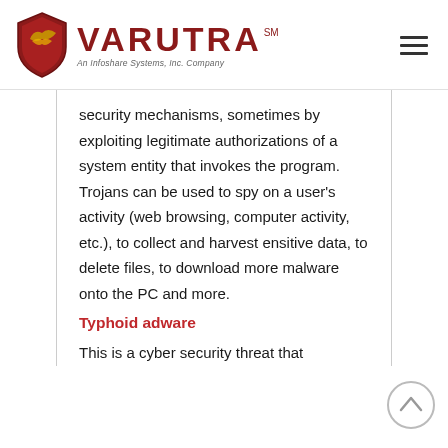[Figure (logo): Varutra logo with red shield containing a gold eagle wing, red bold text VARUTRA with SM superscript, and tagline 'An Infoshare Systems, Inc. Company']
security mechanisms, sometimes by exploiting legitimate authorizations of a system entity that invokes the program. Trojans can be used to spy on a user's activity (web browsing, computer activity, etc.), to collect and harvest ensitive data, to delete files, to download more malware onto the PC and more.
Typhoid adware
This is a cyber security threat that